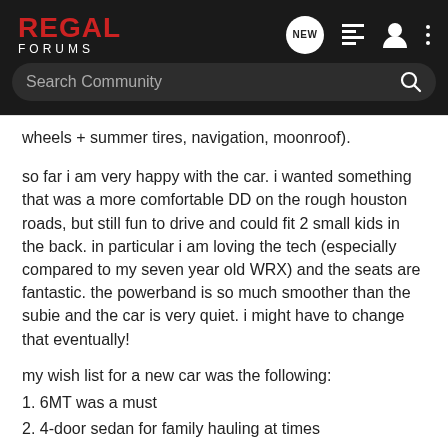REGAL FORUMS
wheels + summer tires, navigation, moonroof).
so far i am very happy with the car. i wanted something that was a more comfortable DD on the rough houston roads, but still fun to drive and could fit 2 small kids in the back. in particular i am loving the tech (especially compared to my seven year old WRX) and the seats are fantastic. the powerband is so much smoother than the subie and the car is very quiet. i might have to change that eventually!
my wish list for a new car was the following:
1. 6MT was a must
2. 4-door sedan for family hauling at times
3. didn't want to see myself coming and going 10x a day